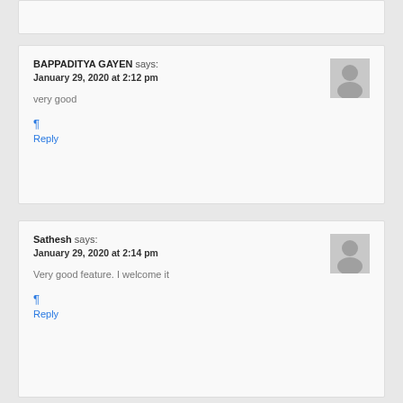BAPPADITYA GAYEN says: January 29, 2020 at 2:12 pm
very good
¶
Reply
Sathesh says: January 29, 2020 at 2:14 pm
Very good feature. I welcome it
¶
Reply